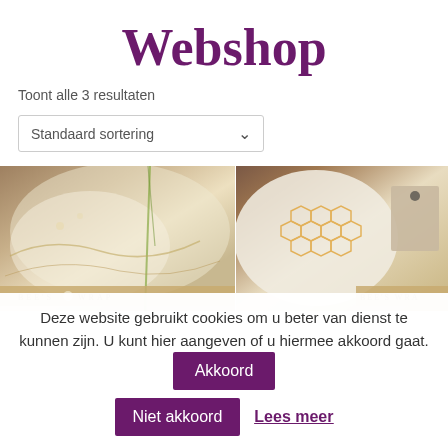Webshop
Toont alle 3 resultaten
Standaard sortering
[Figure (photo): Two product photos of Bee's Wrap beeswax food wraps. Left image shows wrap covering vegetables with BEE'S WRAP label. Right image shows a round wrap with honeycomb pattern and BEE'S WRA label visible.]
Deze website gebruikt cookies om u beter van dienst te kunnen zijn. U kunt hier aangeven of u hiermee akkoord gaat.
Akkoord
Niet akkoord
Lees meer